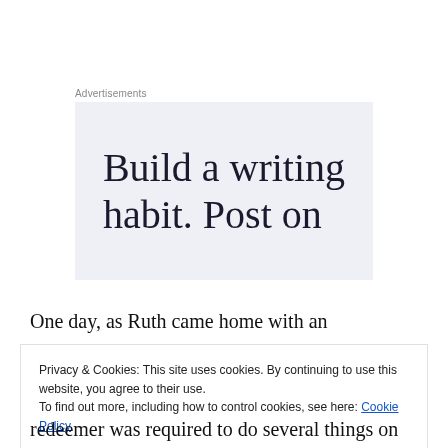Advertisements
[Figure (other): Advertisement banner with text: Build a writing habit. Post on]
One day, as Ruth came home with an abundance of food, she told Naomi about the kindness that Boaz had shown to her. Naomi informed Ruth that Boaz was one
Privacy & Cookies: This site uses cookies. By continuing to use this website, you agree to their use.
To find out more, including how to control cookies, see here: Cookie Policy
redeemer was required to do several things on behalf of